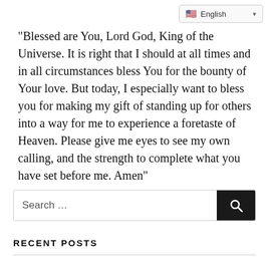[Figure (screenshot): Language selector dropdown showing a US flag icon and the text 'English' with a dropdown arrow]
“Blessed are You, Lord God, King of the Universe. It is right that I should at all times and in all circumstances bless You for the bounty of Your love. But today, I especially want to bless you for making my gift of standing up for others into a way for me to experience a foretaste of Heaven. Please give me eyes to see my own calling, and the strength to complete what you have set before me. Amen”
[Figure (screenshot): Search bar with placeholder text 'Search ...' and a dark search button with a magnifying glass icon]
RECENT POSTS